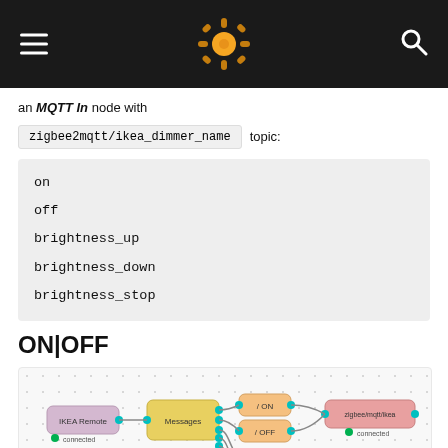Node-RED / Home Automation documentation header
an MQTT In node with
zigbee2mqtt/ikea_dimmer_name topic:
on
off
brightness_up
brightness_down
brightness_stop
ON|OFF
[Figure (flowchart): Node-RED flow diagram showing IKEA Remote node connected to Messages switch node, which connects to ON and OFF function nodes, which connect to zigbee/mqtt/ikea node. Connected node shown at bottom left with 'connected' status indicator.]